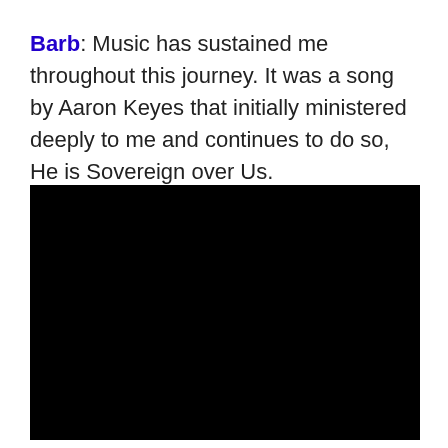Barb: Music has sustained me throughout this journey. It was a song by Aaron Keyes that initially ministered deeply to me and continues to do so, He is Sovereign over Us.
[Figure (other): A black rectangle representing an embedded video player (fully black/unloaded state).]